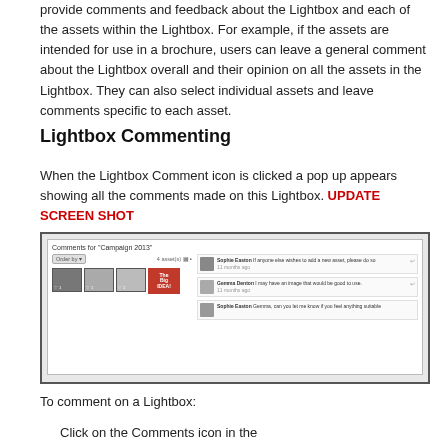provide comments and feedback about the Lightbox and each of the assets within the Lightbox. For example, if the assets are intended for use in a brochure, users can leave a general comment about the Lightbox overall and their opinion on all the assets in the Lightbox. They can also select individual assets and leave comments specific to each asset.
Lightbox Commenting
When the Lightbox Comment icon is clicked a pop up appears showing all the comments made on this Lightbox. UPDATE SCREEN SHOT
[Figure (screenshot): Screenshot of a Lightbox commenting dialog titled 'Comments for Campaign 2013' showing asset thumbnails on the left and user comments on the right from Sophie Easton and Gemma Denton.]
To comment on a Lightbox:
Click on the Comments icon in the